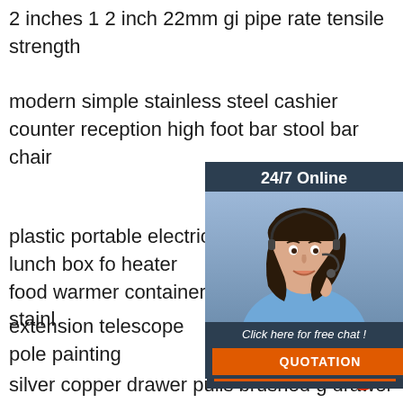2 inches 1 2 inch 22mm gi pipe rate tensile strength
modern simple stainless steel cashier counter reception high foot bar stool bar chair
plastic portable electric lunch box fo heater food warmer container stainl
extension telescope pole painting
silver copper drawer pulls brushed g drawer pull knobs brushed brass cabinet hardware stainless steel bar handles
inoxidable square flat angle rod aisi 304 31
stainless steel round bars
[Figure (illustration): Customer service chat widget with a woman wearing a headset, dark navy background, '24/7 Online' header, 'Click here for free chat!' text, and an orange QUOTATION button.]
[Figure (logo): Red and orange dot-pattern triangle logo with 'TOP' text in orange at bottom right.]